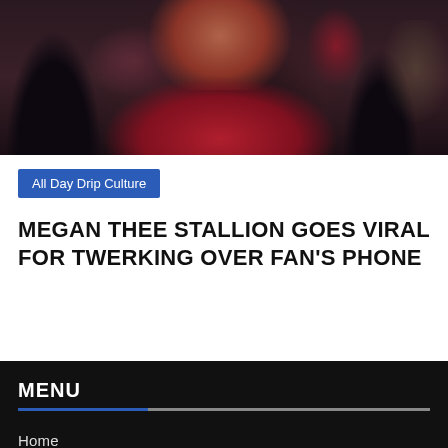[Figure (photo): Photo of Megan Thee Stallion with long dark wavy hair, wearing a red outfit, cropped at upper body]
All Day Drip Culture
MEGAN THEE STALLION GOES VIRAL FOR TWERKING OVER FAN'S PHONE
MENU
Home
All Day Drip Culture
All Day Drip Music
All Day Drip Sports